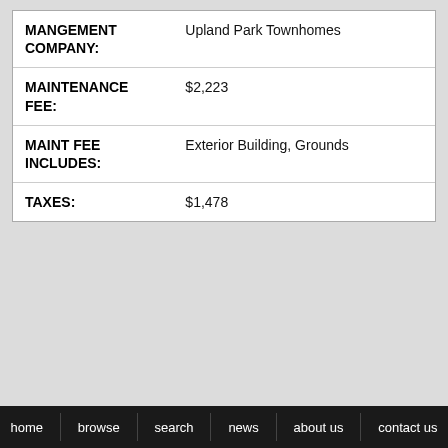| Field | Value |
| --- | --- |
| MANGEMENT COMPANY: | Upland Park Townhomes |
| MAINTENANCE FEE: | $2,223 |
| MAINT FEE INCLUDES: | Exterior Building, Grounds |
| TAXES: | $1,478 |
home   browse   search   news   about us   contact us